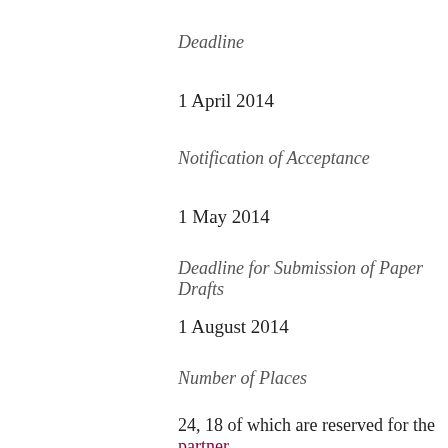Deadline
1 April 2014
Notification of Acceptance
1 May 2014
Deadline for Submission of Paper Drafts
1 August 2014
Number of Places
24, 18 of which are reserved for the partner
Organization
The Stockholm event  is organized by parti